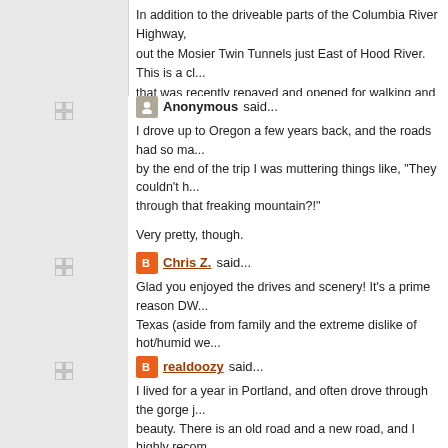In addition to the driveable parts of the Columbia River Highway, check out the Mosier Twin Tunnels just East of Hood River. This is a closed section that was recently repaved and opened for walking and biking and
Anonymous said...
I drove up to Oregon a few years back, and the roads had so ma... by the end of the trip I was muttering things like, "They couldn't h... through that freaking mountain?!"

Very pretty, though.
Chris Z. said...
Glad you enjoyed the drives and scenery! It's a prime reason DW... Texas (aside from family and the extreme dislike of hot/humid we...
realdoozy said...
I lived for a year in Portland, and often drove through the gorge j... beauty. There is an old road and a new road, and I highly recom... great beauty and lack of traffic. I always thought it was a shame ... born there instead of Missouri. Another beautiful spot on the Ore...